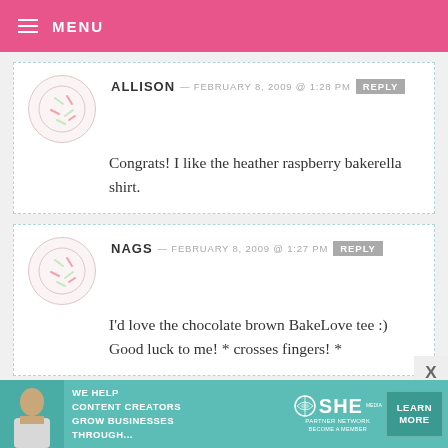MENU
ALLISON — FEBRUARY 8, 2009 @ 1:28 PM  REPLY
Congrats! I like the heather raspberry bakerella shirt.
NAGS — FEBRUARY 8, 2009 @ 1:27 PM  REPLY
I'd love the chocolate brown BakeLove tee :) Good luck to me! * crosses fingers! *
[Figure (infographic): SHE Media partner network advertisement banner with text: WE HELP CONTENT CREATORS GROW BUSINESSES THROUGH... and LEARN MORE button]